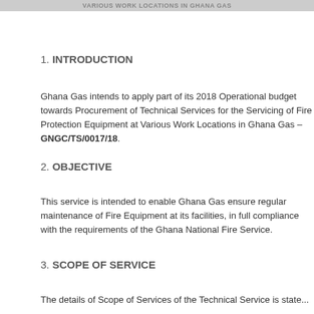VARIOUS WORK LOCATIONS IN GHANA GAS
1. INTRODUCTION
Ghana Gas intends to apply part of its 2018 Operational budget towards Procurement of Technical Services for the Servicing of Fire Protection Equipment at Various Work Locations in Ghana Gas – GNGC/TS/0017/18.
2. OBJECTIVE
This service is intended to enable Ghana Gas ensure regular maintenance of Fire Equipment at its facilities, in full compliance with the requirements of the Ghana National Fire Service.
3. SCOPE OF SERVICE
The details of Scope of Services of the Technical Service is state...